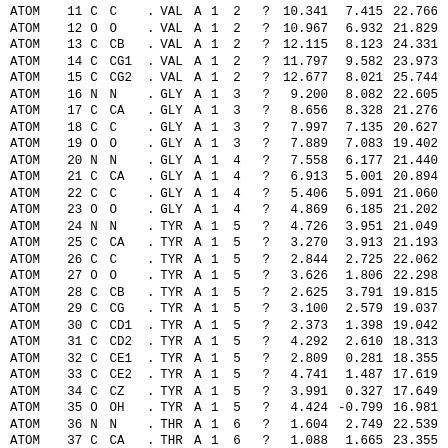| ATOM | num | el | name | dot | res | ch | m | seq | ? | x | y | z |
| --- | --- | --- | --- | --- | --- | --- | --- | --- | --- | --- | --- | --- |
| ATOM | 11 | C | C | . | VAL | A | 1 | 2 | ? | 10.341 | 7.415 | 22.766 |
| ATOM | 12 | O | O | . | VAL | A | 1 | 2 | ? | 10.967 | 6.932 | 21.829 |
| ATOM | 13 | C | CB | . | VAL | A | 1 | 2 | ? | 12.115 | 8.123 | 24.331 |
| ATOM | 14 | C | CG1 | . | VAL | A | 1 | 2 | ? | 11.797 | 9.582 | 23.973 |
| ATOM | 15 | C | CG2 | . | VAL | A | 1 | 2 | ? | 12.677 | 8.021 | 25.744 |
| ATOM | 16 | N | N | . | GLY | A | 1 | 3 | ? | 9.200 | 8.082 | 22.605 |
| ATOM | 17 | C | CA | . | GLY | A | 1 | 3 | ? | 8.656 | 8.328 | 21.276 |
| ATOM | 18 | C | C | . | GLY | A | 1 | 3 | ? | 7.997 | 7.135 | 20.627 |
| ATOM | 19 | O | O | . | GLY | A | 1 | 3 | ? | 7.889 | 7.083 | 19.402 |
| ATOM | 20 | N | N | . | GLY | A | 1 | 4 | ? | 7.558 | 6.177 | 21.440 |
| ATOM | 21 | C | CA | . | GLY | A | 1 | 4 | ? | 6.913 | 5.001 | 20.894 |
| ATOM | 22 | C | C | . | GLY | A | 1 | 4 | ? | 5.406 | 5.091 | 21.060 |
| ATOM | 23 | O | O | . | GLY | A | 1 | 4 | ? | 4.869 | 6.185 | 21.202 |
| ATOM | 24 | N | N | . | TYR | A | 1 | 5 | ? | 4.726 | 3.951 | 21.049 |
| ATOM | 25 | C | CA | . | TYR | A | 1 | 5 | ? | 3.270 | 3.913 | 21.193 |
| ATOM | 26 | C | C | . | TYR | A | 1 | 5 | ? | 2.844 | 2.725 | 22.062 |
| ATOM | 27 | O | O | . | TYR | A | 1 | 5 | ? | 3.626 | 1.806 | 22.298 |
| ATOM | 28 | C | CB | . | TYR | A | 1 | 5 | ? | 2.625 | 3.791 | 19.815 |
| ATOM | 29 | C | CG | . | TYR | A | 1 | 5 | ? | 3.100 | 2.579 | 19.037 |
| ATOM | 30 | C | CD1 | . | TYR | A | 1 | 5 | ? | 2.373 | 1.398 | 19.042 |
| ATOM | 31 | C | CD2 | . | TYR | A | 1 | 5 | ? | 4.292 | 2.610 | 18.313 |
| ATOM | 32 | C | CE1 | . | TYR | A | 1 | 5 | ? | 2.809 | 0.281 | 18.355 |
| ATOM | 33 | C | CE2 | . | TYR | A | 1 | 5 | ? | 4.741 | 1.487 | 17.619 |
| ATOM | 34 | C | CZ | . | TYR | A | 1 | 5 | ? | 3.991 | 0.327 | 17.649 |
| ATOM | 35 | O | OH | . | TYR | A | 1 | 5 | ? | 4.424 | -0.799 | 16.981 |
| ATOM | 36 | N | N | . | THR | A | 1 | 6 | ? | 1.604 | 2.749 | 22.539 |
| ATOM | 37 | C | CA | . | THR | A | 1 | 6 | ? | 1.088 | 1.665 | 23.355 |
| ATOM | 38 | C | C | . | THR | A | 1 | 6 | ? | 0.922 | 0.422 | 22.485 |
| ATOM | 39 | O | O | . | THR | A | 1 | 6 | ? | 0.154 | 0.417 | 21.533 |
| ATOM | 40 | C | CB | . | THR | A | 1 | 6 | ? | -0.254 | 2.062 | 23.978 |